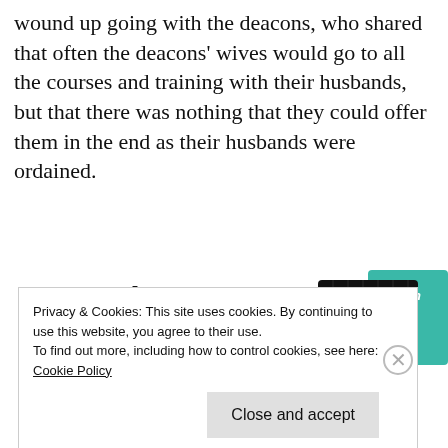wound up going with the deacons, who shared that often the deacons' wives would go to all the courses and training with their husbands, but that there was nothing that they could offer them in the end as their husbands were ordained.
[Figure (infographic): Advertisement banner showing the text 'lovers.' in bold, 'Download now' in red, and an image of the 99% Invisible podcast app on a black grid background with teal and other colored cards.]
Privacy & Cookies: This site uses cookies. By continuing to use this website, you agree to their use.
To find out more, including how to control cookies, see here: Cookie Policy
Close and accept